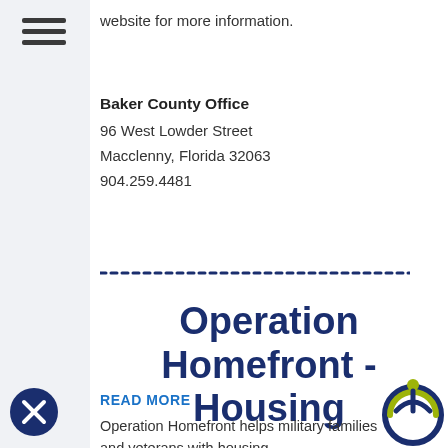website for more information.
Baker County Office
96 West Lowder Street
Macclenny, Florida 32063
904.259.4481
Operation Homefront - Housing
READ MORE
Operation Homefront helps military families and veterans with housing.